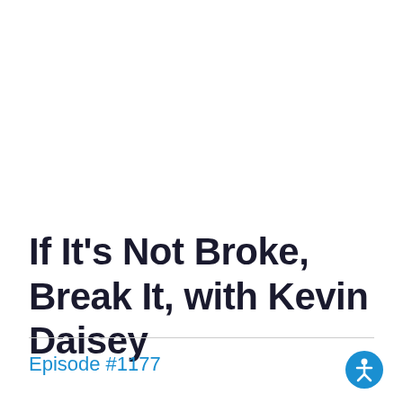If It’s Not Broke, Break It, with Kevin Daisey
Episode #1177